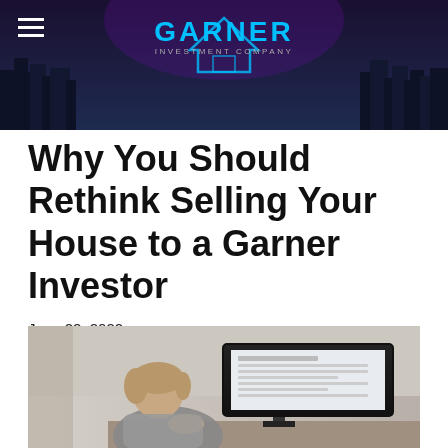[Figure (photo): Garner Investment Company website header banner with dark city skyline background, hamburger menu icon on the left, house/diamond logo outline in the center, bold cyan 'GARNER' text, and 'INVESTMENT COMPANY' subtitle in gray]
Why You Should Rethink Selling Your House to a Garner Investor
June 22, 2022
By neal4525
[Figure (photo): A person with light hair sitting at a desk, viewed from behind, looking at a computer monitor displaying what appears to be a form or document]